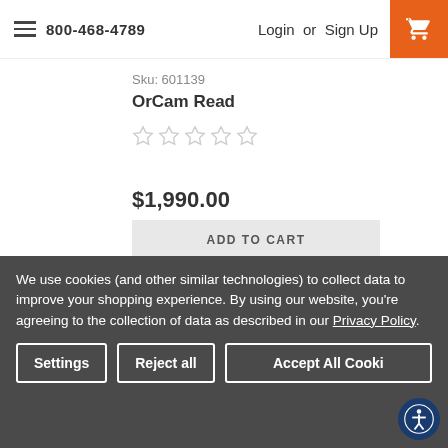800-468-4789   Login or Sign Up
Sku: 601139
OrCam Read
[Figure (other): Five empty star rating icons (no rating selected)]
$1,990.00
ADD TO CART
We use cookies (and other similar technologies) to collect data to improve your shopping experience. By using our website, you're agreeing to the collection of data as described in our Privacy Policy.
Settings   Reject all   Accept All Cookies